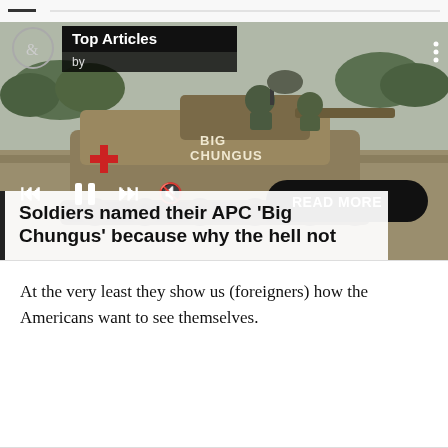[Figure (photo): Military APC (Armored Personnel Carrier) labeled 'Big Chungus' with a red cross on the side, soldiers on top, in an open field. Overlaid with media player controls (skip back, pause, skip forward, mute) and a 'READ MORE' button. Top Articles header with '&' logo and 'by' text visible.]
Soldiers named their APC ‘Big Chungus’ because why the hell not
At the very least they show us (foreigners) how the Americans want to see themselves.